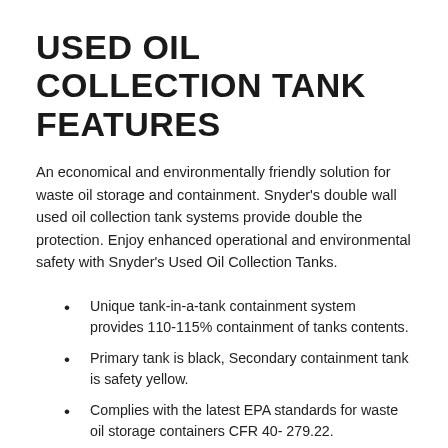USED OIL COLLECTION TANK FEATURES
An economical and environmentally friendly solution for waste oil storage and containment. Snyder’s double wall used oil collection tank systems provide double the protection. Enjoy enhanced operational and environmental safety with Snyder’s Used Oil Collection Tanks.
Unique tank-in-a-tank containment system provides 110-115% containment of tanks contents.
Primary tank is black, Secondary containment tank is safety yellow.
Complies with the latest EPA standards for waste oil storage containers CFR 40- 279.22.
2” top draw quick-connect drain coupling.